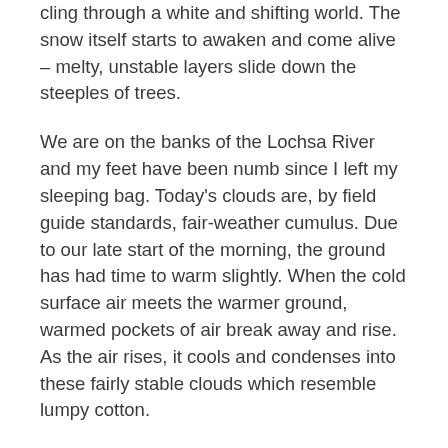cling through a white and shifting world. The snow itself starts to awaken and come alive – melty, unstable layers slide down the steeples of trees.
We are on the banks of the Lochsa River and my feet have been numb since I left my sleeping bag. Today's clouds are, by field guide standards, fair-weather cumulus. Due to our late start of the morning, the ground has had time to warm slightly. When the cold surface air meets the warmer ground, warmed pockets of air break away and rise. As the air rises, it cools and condenses into these fairly stable clouds which resemble lumpy cotton.
Today the clouds are scant enough to give us the opportunity to watch birds without getting frostbite on our binocular-clutching fingers, and even to find a dry spot under a cedar to write. Yet they are numerous enough to remind us of our very different experience the day before.